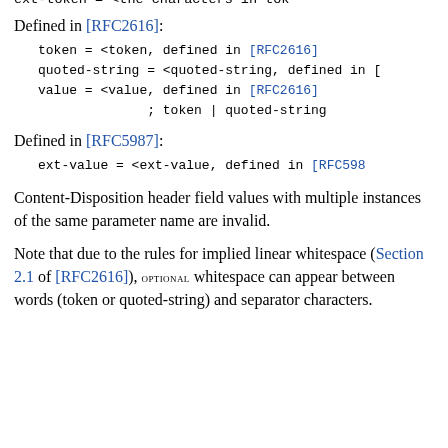ext-token      = <the characters in to...
Defined in [RFC2616]:
token         = <token, defined in [RFC2616]
quoted-string = <quoted-string, defined in [
value         = <value, defined in [RFC2616]
              ; token | quoted-string
Defined in [RFC5987]:
ext-value    = <ext-value, defined in [RFC598...
Content-Disposition header field values with multiple instances of the same parameter name are invalid.
Note that due to the rules for implied linear whitespace (Section 2.1 of [RFC2616]), OPTIONAL whitespace can appear between words (token or quoted-string) and separator characters.